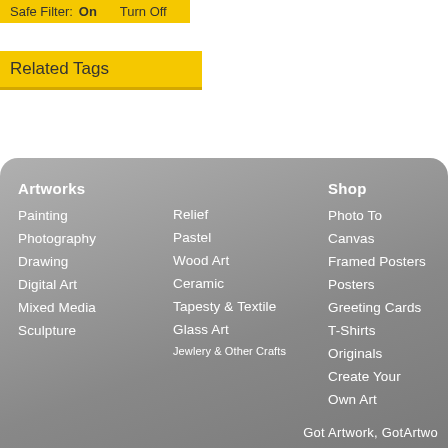Safe Filter: On   Turn Off
Related Tags
Artworks
Painting
Photography
Drawing
Digital Art
Mixed Media
Sculpture
Relief
Pastel
Wood Art
Ceramic
Tapesty & Textile
Glass Art
Jewlery & Other Crafts
Shop
Photo To Canvas
Framed Posters
Posters
Greeting Cards
T-Shirts
Originals
Create Your Own Art
Got Artwork, GotArtwo